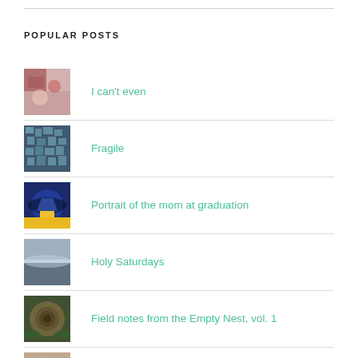POPULAR POSTS
I can't even
Fragile
Portrait of the mom at graduation
Holy Saturdays
Field notes from the Empty Nest, vol. 1
Quarantine, Day 5